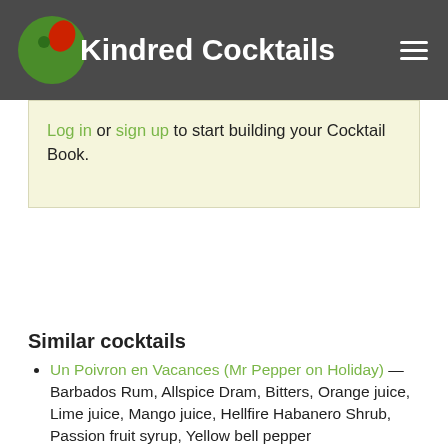Kindred Cocktails
Log in or sign up to start building your Cocktail Book.
Similar cocktails
Un Poivron en Vacances (Mr Pepper on Holiday) — Barbados Rum, Allspice Dram, Bitters, Orange juice, Lime juice, Mango juice, Hellfire Habanero Shrub, Passion fruit syrup, Yellow bell pepper
Peg Leg — Rum, Grapefruit bitters, Lime juice, Simple syrup, Demerara syrup, Grapefruit peel
Nui Nui — Virgin Islands Rum, Allspice Dram, Bitters, Lime juice, Orange juice, Cinnamon syrup, Vanilla syrup, Orange peel
The Barrelman — Barbados Rum, Navy strength rum, Grapefruit juice, Passion fruit syrup, Lime juice, Donn's Spices #2
Honey Fitz — Guatemalan rum, Peychaud's Bitters, Honey syrup, Grapefruit juice